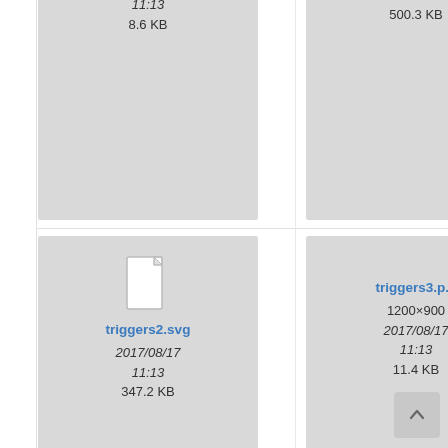[Figure (screenshot): File browser grid view showing file thumbnails with metadata. Row 1 (partial): three cards visible - first shows '1200×900 / 2017/08/17 / 11:13 / 8.6 KB', second shows '2017/08/17 / 11:13 / 500.3 KB', third shows '1200× / 2017/ / 11:1 / 8.6 K'. Row 2: triggers2.svg card with file icon, '2017/08/17 11:13 347.2 KB'; triggers3.p... card '1200×900 2017/08/17 11:13 11.4 KB'; trig... card with context menu showing clock and link icons, '2017/0 11:1 270.1'. Row 3: one partial card visible at bottom left. Scroll-to-top button at bottom right.]